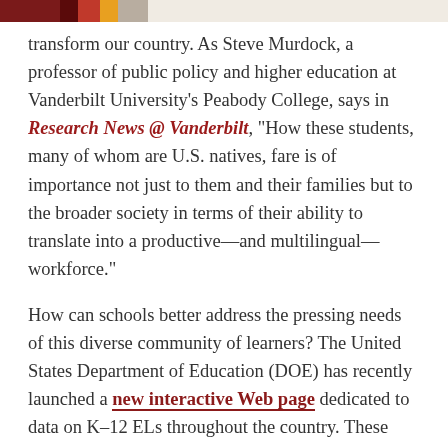[decorative color bar]
transform our country. As Steve Murdock, a professor of public policy and higher education at Vanderbilt University's Peabody College, says in Research News @ Vanderbilt, “How these students, many of whom are U.S. natives, fare is of importance not just to them and their families but to the broader society in terms of their ability to translate into a productive—and multilingual—workforce.”
How can schools better address the pressing needs of this diverse community of learners? The United States Department of Education (DOE) has recently launched a new interactive Web page dedicated to data on K–12 ELs throughout the country. These data may help educators make decisions about educational supports and services for these students and address the